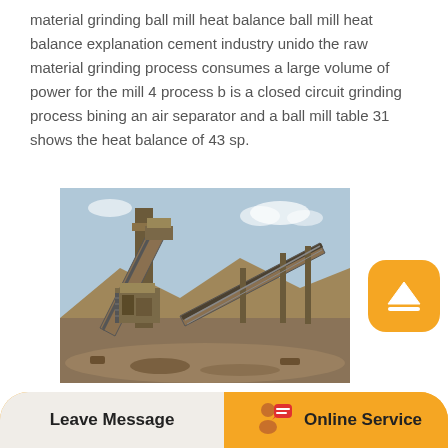material grinding ball mill heat balance ball mill heat balance explanation cement industry unido the raw material grinding process consumes a large volume of power for the mill 4 process b is a closed circuit grinding process bining an air separator and a ball mill table 31 shows the heat balance of 43 sp.
[Figure (photo): Industrial grinding mill machinery at an outdoor site, showing conveyor belts, crusher equipment, and support structures on a rocky terrain with a blue sky background.]
Super Thin Grinding Mill By Fruitful - klubik-mis.pl. ultrafine mill super thin grinding mill by. For almost 30 years SKD is engaged in grinding
Leave Message   Online Service